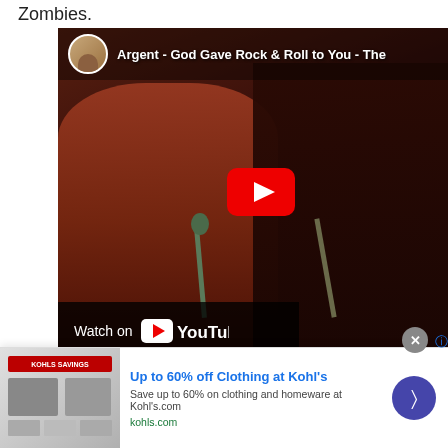Zombies.
[Figure (screenshot): YouTube video embed showing Argent performing 'God Gave Rock & Roll to You'. Two musicians visible: one with long brown hair in red vest on left, one with sunglasses and dark jacket on right. YouTube play button overlay in center. 'Watch on YouTube' bar at bottom left. Channel avatar (dog) with text 'Argent - God Gave Rock & Roll to You - The...' at top.]
Otie Duch  9/29  One of the last of the Chicago...
Up to 60% off Clothing at Kohl's
Save up to 60% on clothing and homeware at Kohl's.com
kohls.com